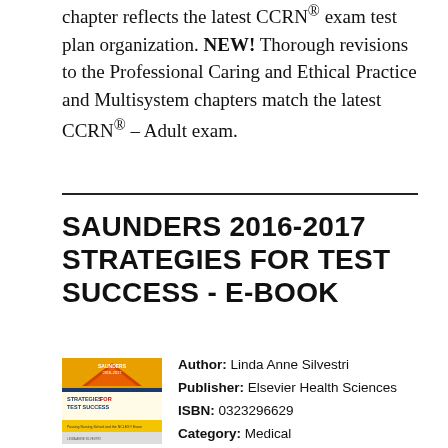chapter reflects the latest CCRN® exam test plan organization. NEW! Thorough revisions to the Professional Caring and Ethical Practice and Multisystem chapters match the latest CCRN® - Adult exam.
SAUNDERS 2016-2017 STRATEGIES FOR TEST SUCCESS - E-BOOK
[Figure (illustration): Book cover of Saunders 2016-2017 Strategies for Test Success, showing a yellow and blue cover with the book title and subtitle about passing nursing school and the NCLEX exam.]
Author: Linda Anne Silvestri
Publisher: Elsevier Health Sciences
ISBN: 0323296629
Category: Medical